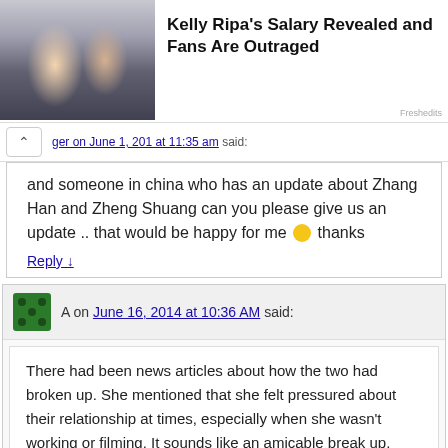[Figure (photo): Advertisement banner showing a couple in formal wear (Kelly Ripa and husband) with text 'Kelly Ripa's Salary Revealed and Fans Are Outraged' and source label 'Freshedits']
... ger on June 1, 201 at 11:35 am said:
and someone in china who has an update about Zhang Han and Zheng Shuang can you please give us an update .. that would be happy for me 🙂 thanks
Reply ↓
A on June 16, 2014 at 10:36 AM said:
There had been news articles about how the two had broken up. She mentioned that she felt pressured about their relationship at times, especially when she wasn't working or filming. It sounds like an amicable break up. She's not opposed to working with him again in future projects.
Reply ↓